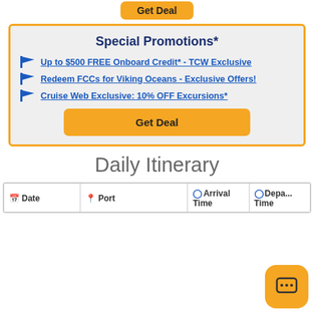[Figure (other): Orange 'Get Deal' button at top of page (partially visible)]
Special Promotions*
Up to $500 FREE Onboard Credit* - TCW Exclusive
Redeem FCCs for Viking Oceans - Exclusive Offers!
Cruise Web Exclusive: 10% OFF Excursions*
[Figure (other): Orange 'Get Deal' button inside promo box]
Daily Itinerary
| Date | Port | Arrival Time | Departure Time |
| --- | --- | --- | --- |